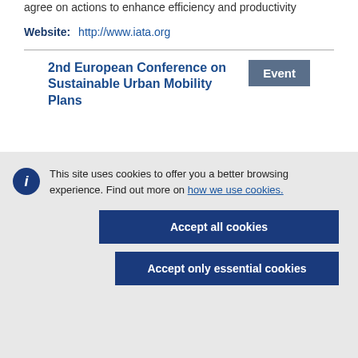agree on actions to enhance efficiency and productivity
Website:    http://www.iata.org
2nd European Conference on Sustainable Urban Mobility Plans
Event
This site uses cookies to offer you a better browsing experience. Find out more on how we use cookies.
Accept all cookies
Accept only essential cookies